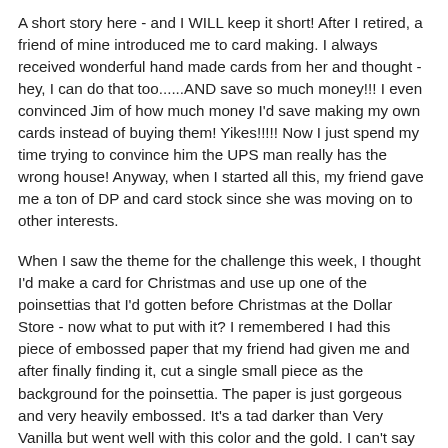A short story here - and I WILL keep it short!  After I retired, a friend of mine introduced me to card making.  I always received wonderful hand made cards from her and thought - hey, I can do that too......AND save so much money!!!  I even convinced Jim of how much money I'd save making my own cards instead of buying them!  Yikes!!!!!  Now I just spend my time trying to convince him the UPS man really has the wrong house!   Anyway, when I started all this, my friend gave me a ton of DP and card stock since she was moving on to other interests.
When I saw the theme for the challenge this week, I thought I'd make a card for Christmas and use up one of the poinsettias that I'd gotten before Christmas at the Dollar Store - now what to put with it?  I remembered I had this piece of embossed paper that my friend had given me and after finally finding it, cut a single small piece as the background for the poinsettia.  The paper is just gorgeous and very heavily embossed.  It's a tad darker than Very Vanilla but went well with this color and the gold.  I can't say that gold is my absolute favorite color (except maybe right now as all the outstanding athletes are winning gold medals)